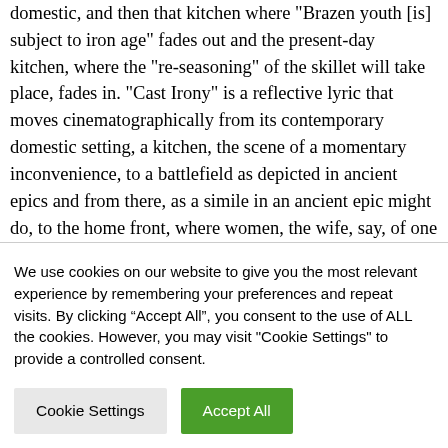domestic, and then that kitchen where "Brazen youth [is] subject to iron age" fades out and the present-day kitchen, where the "re-seasoning" of the skillet will take place, fades in. "Cast Irony" is a reflective lyric that moves cinematographically from its contemporary domestic setting, a kitchen, the scene of a momentary inconvenience, to a battlefield as depicted in ancient epics and from there, as a simile in an ancient epic might do, to the home front, where women, the wife, say, of one of the epic heroes
We use cookies on our website to give you the most relevant experience by remembering your preferences and repeat visits. By clicking “Accept All”, you consent to the use of ALL the cookies. However, you may visit "Cookie Settings" to provide a controlled consent.